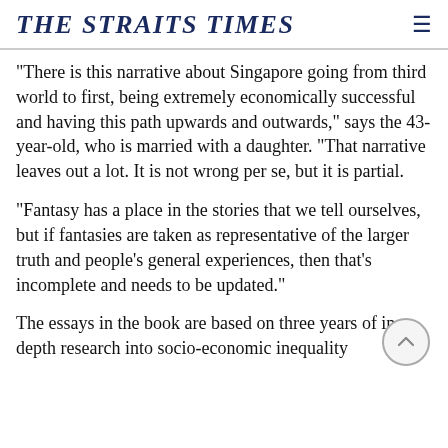THE STRAITS TIMES
"There is this narrative about Singapore going from third world to first, being extremely economically successful and having this path upwards and outwards," says the 43-year-old, who is married with a daughter. "That narrative leaves out a lot. It is not wrong per se, but it is partial.
"Fantasy has a place in the stories that we tell ourselves, but if fantasies are taken as representative of the larger truth and people's general experiences, then that's incomplete and needs to be updated."
The essays in the book are based on three years of in-depth research into socio-economic inequality